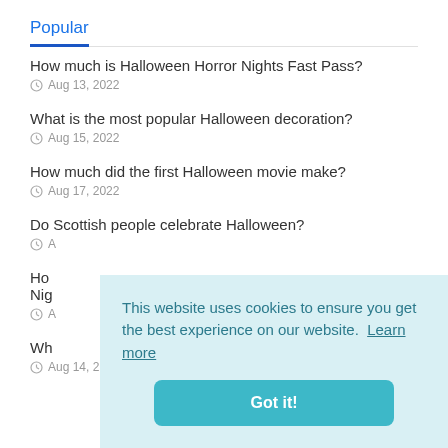Popular
How much is Halloween Horror Nights Fast Pass?
Aug 13, 2022
What is the most popular Halloween decoration?
Aug 15, 2022
How much did the first Halloween movie make?
Aug 17, 2022
Do Scottish people celebrate Halloween?
Aug ...
Ho... Nig...
Aug ...
Wh...
Aug 14, 2022
This website uses cookies to ensure you get the best experience on our website. Learn more
Got it!